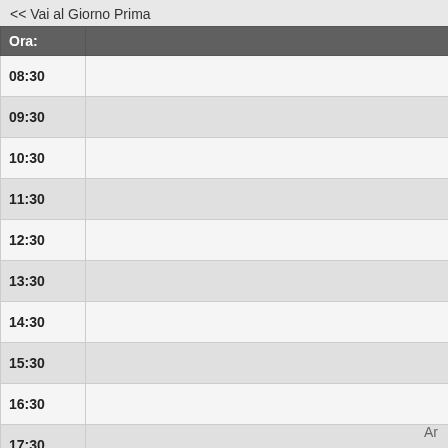<< Vai al Giorno Prima
| Ora: | A... |
| --- | --- |
| 08:30 |  |
| 09:30 |  |
| 10:30 |  |
| 11:30 |  |
| 12:30 |  |
| 13:30 |  |
| 14:30 |  |
| 15:30 |  |
| 16:30 |  |
| 17:30 |  |
| 18:30 |  |
[Figure (infographic): Legend grid with colored boxes: Seminario (pink), Chiuso (grey), Convegno (light red), Lezioni (yellow-orange), Vacanza (blue-grey), Riunione (yellow), Esami (light blue), Master (orange), CEL (green), Esterno (dark grey)]
Vedi Giorno: 29 Jul | 30 Jul | 31 Jul | 01 Aug | 02 Aug | 03 Aug | 04 Au...
Vedi Settimana: 01 Jul | 08 Jul | 15 Jul | 22 Jul | 29 Jul | 05 Aug | 12 A...
Vedi Mese: Jun 2019 | Jul 2019 | Aug 2019 | Sep 2019 | Oct 2019 | No...
Ar...